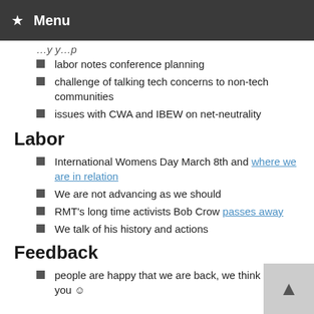★ Menu
labor notes conference planning
challenge of talking tech concerns to non-tech communities
issues with CWA and IBEW on net-neutrality
Labor
International Womens Day March 8th and where we are in relation
We are not advancing as we should
RMT's long time activists Bob Crow passes away
We talk of his history and actions
Feedback
people are happy that we are back, we think all 1 of you ☺